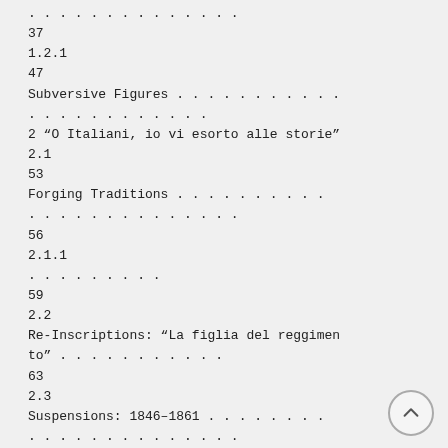. . . . . . . . . . . . . .
37
1.2.1
47
Subversive Figures . . . . . . . . . . .
. . . . . . . . . . . .
2 “O Italiani, io vi esorto alle storie”
2.1
53
Forging Traditions . . . . . . . . . .
. . . . . . . . . . . . . .
56
2.1.1
. . . . . . . . .
59
2.2
Re-Inscriptions: “La figlia del reggimen
to” . . . . . . . . . . .
63
2.3
Suspensions: 1846–1861 . . . . . . . .
. . . . . . . . . . . . . .
70
2.3.1
70